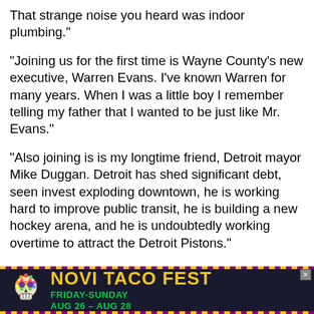That strange noise you heard was indoor plumbing."
"Joining us for the first time is Wayne County's new executive, Warren Evans. I've known Warren for many years. When I was a little boy I remember telling my father that I wanted to be just like Mr. Evans."
"Also joining is is my longtime friend, Detroit mayor Mike Duggan. Detroit has shed significant debt, seen invest exploding downtown, he is working hard to improve public transit, he is building a new hockey arena, and he is undoubtedly working overtime to attract the Detroit Pistons."
He also had some more serious news, like calling for a reduction in county property taxes, announcing Oakland County's 17th year of receiving a AAA bond rating, and the
[Figure (illustration): Advertisement banner for Novi Taco Fest with sugar skull logo, yellow text 'NOVI TACO FEST', and green text 'FRIDAY-SUNDAY AUG 26 - AUG 28' on dark background with purple and yellow dotted border]